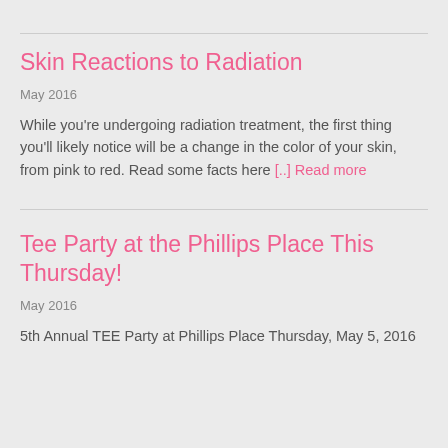Skin Reactions to Radiation
May 2016
While you're undergoing radiation treatment, the first thing you'll likely notice will be a change in the color of your skin, from pink to red. Read some facts here [..] Read more
Tee Party at the Phillips Place This Thursday!
May 2016
5th Annual TEE Party at Phillips Place Thursday, May 5, 2016